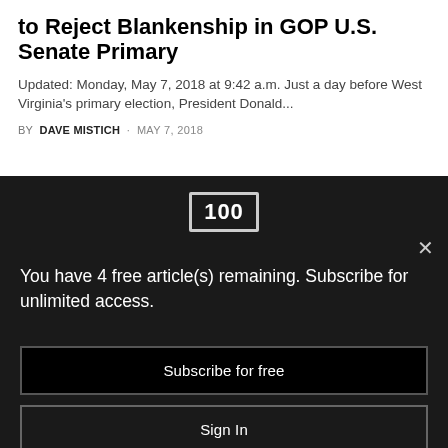to Reject Blankenship in GOP U.S. Senate Primary
Updated: Monday, May 7, 2018 at 9:42 a.m. Just a day before West Virginia's primary election, President Donald...
BY DAVE MISTICH · MAY 7, 2018
[Figure (logo): 100 Days in Appalachia logo — box with '100' text]
You have 4 free article(s) remaining. Subscribe for unlimited access.
Subscribe for free
Sign In